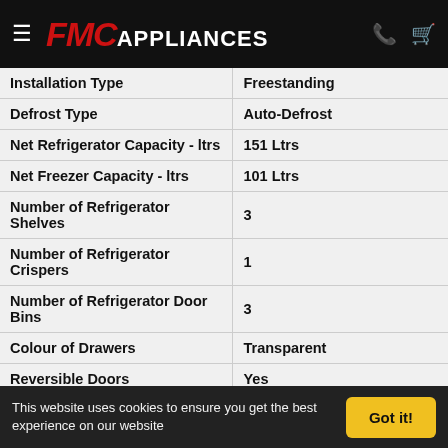FMC APPLIANCES
| Specification | Value |
| --- | --- |
| Installation Type | Freestanding |
| Defrost Type | Auto-Defrost |
| Net Refrigerator Capacity - ltrs | 151 Ltrs |
| Net Freezer Capacity - ltrs | 101 Ltrs |
| Number of Refrigerator Shelves | 3 |
| Number of Refrigerator Crispers | 1 |
| Number of Refrigerator Door Bins | 3 |
| Colour of Drawers | Transparent |
| Reversible Doors | Yes |
| Lighting Type | LED |
| Climate Class | ST |
| Star Rating | 4 Star |
| Noise Level (dB(A) re 1 pW) | 39 (dB) |
| Product Type | Fridge Freezer |
| Shipping Height | 182 cm |
| Shipping Width | 58 cm |
This website uses cookies to ensure you get the best experience on our website
Got it!